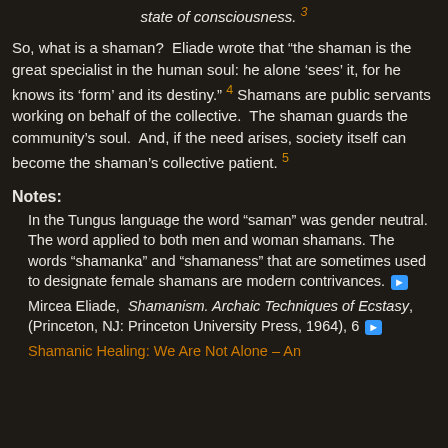state of consciousness. 3
So, what is a shaman? Eliade wrote that “the shaman is the great specialist in the human soul: he alone ‘sees’ it, for he knows its ‘form’ and its destiny.” 4 Shamans are public servants working on behalf of the collective. The shaman guards the community’s soul. And, if the need arises, society itself can become the shaman’s collective patient. 5
Notes:
1. In the Tungus language the word “saman” was gender neutral. The word applied to both men and woman shamans. The words “shamanka” and “shamaness” that are sometimes used to designate female shamans are modern contrivances.
2. Mircea Eliade, Shamanism. Archaic Techniques of Ecstasy, (Princeton, NJ: Princeton University Press, 1964), 6
3. Shamanic Healing: We Are Not Alone – An